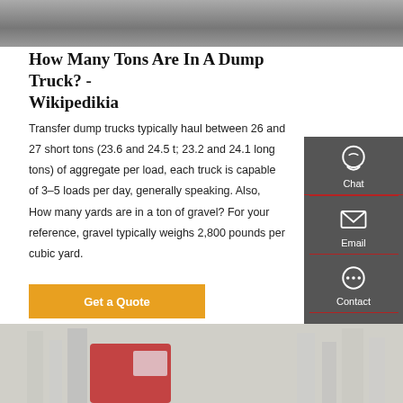[Figure (photo): Top portion of a road/pavement photo, gray asphalt surface]
How Many Tons Are In A Dump Truck? - Wikipedikia
Transfer dump trucks typically haul between 26 and 27 short tons (23.6 and 24.5 t; 23.2 and 24.1 long tons) of aggregate per load, each truck is capable of 3–5 loads per day, generally speaking. Also, How many yards are in a ton of gravel? For your reference, gravel typically weighs 2,800 pounds per cubic yard.
[Figure (other): Get a Quote button (orange/amber colored)]
[Figure (photo): Photo of a red dump truck in front of city buildings/skyscrapers]